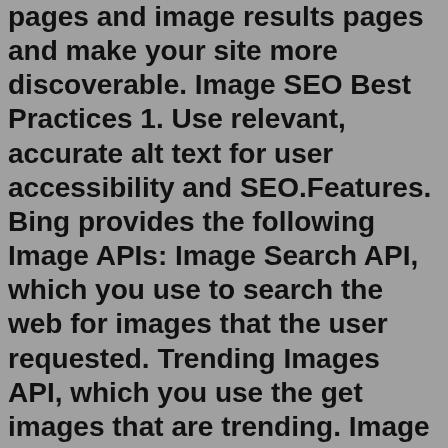pages and image results pages and make your site more discoverable. Image SEO Best Practices 1. Use relevant, accurate alt text for user accessibility and SEO.Features. Bing provides the following Image APIs: Image Search API, which you use to search the web for images that the user requested. Trending Images API, which you use the get images that are trending. Image Insights API, which you use to get insights about an image such as visually similar images or places where you can buy the product seen ...Tumblr is so easy to use that it's hard to explain. We made it really, really simple for people to make a blog and put whatever they want on it. Stories, photos, GIFs, TV shows, links, quips, dumb jokes, smart jokes, Spotify tracks, mp3s, videos, fashion, art, deep stuff. Tumblr is 500 million different blogs, filled with literally whatever.Oct 28, 2020 · Reverse image search tool is based on CBIR (Content Based Image Retrieval), and analyzes the content from the leading search engines, to some people use, and gives you all the matched image results in no time. Moreover, no